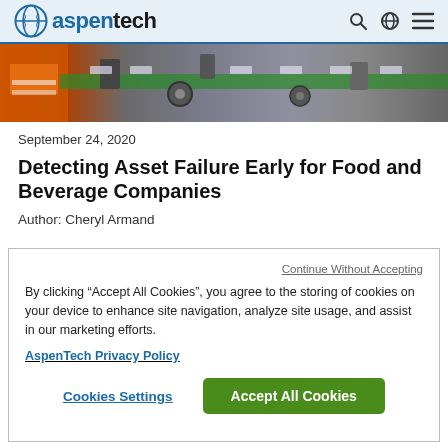aspentech
[Figure (photo): Industrial conveyor/machinery with an orange-vested worker on the left and mechanical equipment on a green conveyor belt]
September 24, 2020
Detecting Asset Failure Early for Food and Beverage Companies
Author: Cheryl Armand
Continue Without Accepting
By clicking “Accept All Cookies”, you agree to the storing of cookies on your device to enhance site navigation, analyze site usage, and assist in our marketing efforts.
AspenTech Privacy Policy
Cookies Settings
Accept All Cookies